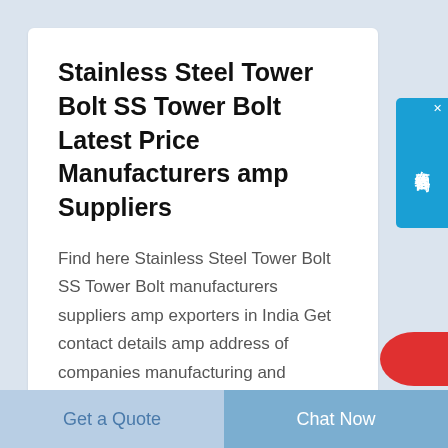Stainless Steel Tower Bolt SS Tower Bolt Latest Price Manufacturers amp Suppliers
Find here Stainless Steel Tower Bolt SS Tower Bolt manufacturers suppliers amp exporters in India Get contact details amp address of companies manufacturing and supplying Stainless Steel Tower Bolt SS Tower Bolt across India